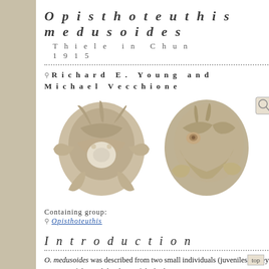Opisthoteuthis medusoides  Thiele in Chun 1915
Richard E. Young and Michael Vecchione
[Figure (illustration): Two illustrations of Opisthoteuthis medusoides squid specimens shown from different angles - one from below showing oral side with fin-like appendages and one from the side showing the rounded gelatinous body.]
Containing group:
Opisthoteuthis
Introduction
O. medusoides was described from two small individuals (juveniles). They seemed to have little or no pigment. Because of this and the shape of the body